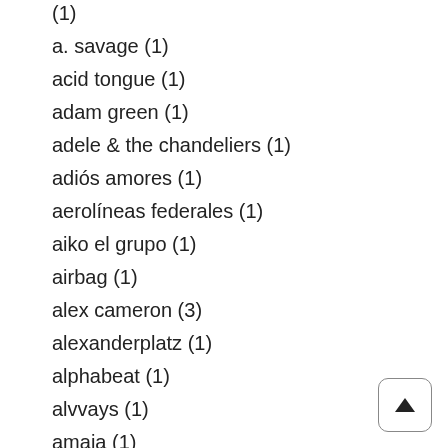(1)
a. savage (1)
acid tongue (1)
adam green (1)
adele & the chandeliers (1)
adiós amores (1)
aerolíneas federales (1)
aiko el grupo (1)
airbag (1)
alex cameron (3)
alexanderplatz (1)
alphabeat (1)
alvvays (1)
amaia (1)
amen dunes (1)
amor líquido (1)
amoreyera (1)